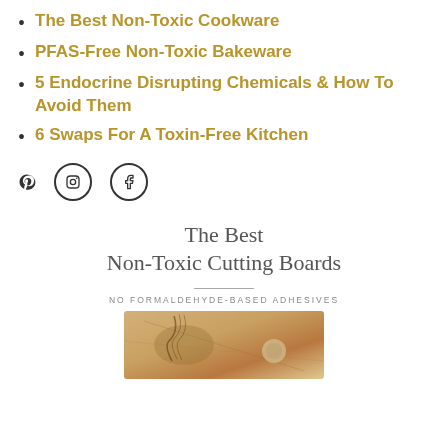The Best Non-Toxic Cookware
PFAS-Free Non-Toxic Bakeware
5 Endocrine Disrupting Chemicals & How To Avoid Them
6 Swaps For A Toxin-Free Kitchen
[Figure (infographic): Social media icons: Pinterest (P), Instagram (circle with inner circle), Facebook (f)]
The Best Non-Toxic Cutting Boards
NO FORMALDEHYDE-BASED ADHESIVES
[Figure (photo): Photo of a wooden cutting board with rosemary sprigs and twine, warm golden tones]